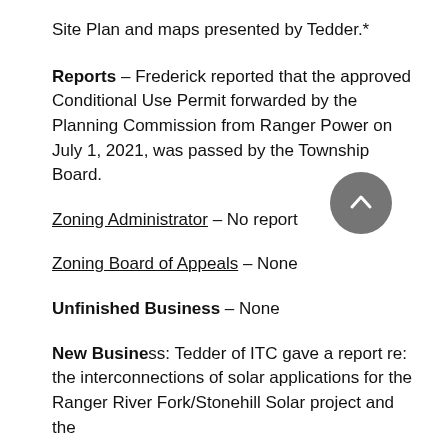Site Plan and maps presented by Tedder.*
Reports – Frederick reported that the approved Conditional Use Permit forwarded by the Planning Commission from Ranger Power on July 1, 2021, was passed by the Township Board.
Zoning Administrator – No report
Zoning Board of Appeals – None
Unfinished Business – None
New Business: Tedder of ITC gave a report re: the interconnections of solar applications for the Ranger River Fork/Stonehill Solar project and the